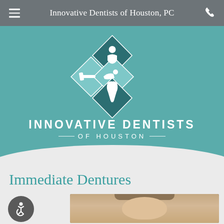Innovative Dentists of Houston, PC
[Figure (logo): Diamond-shaped four-quadrant logo with dentist figure (top), toothbrush (left), dental chair/patient (right), and tooth (bottom). Teal and white color scheme.]
INNOVATIVE DENTISTS OF HOUSTON
Immediate Dentures
[Figure (photo): Portrait photo of a middle-aged woman with brown/blonde hair, smiling, in a dental context]